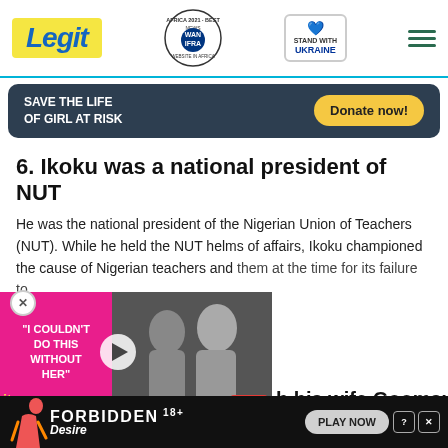Legit — Africa 2021 Best News Website in Africa (WAN-IFRA) | Stand with Ukraine
[Figure (other): Advertisement banner: dark blue background, 'SAVE THE LIFE OF GIRL AT RISK' with 'Donate now!' yellow button]
6. Ikoku was a national president of NUT
He was the national president of the Nigerian Union of Teachers (NUT). While he held the NUT helms of affairs, Ikoku championed the cause of Nigerian teachers and [blamed] them at the time for its failure to
[Figure (other): Video widget overlay: pink label 'I COULDN'T DO THIS WITHOUT HER' with two people photo and play button]
...h his wife Goomsu
[Figure (other): Bottom advertisement: FORBIDDEN Desire 18+ PLAY NOW]